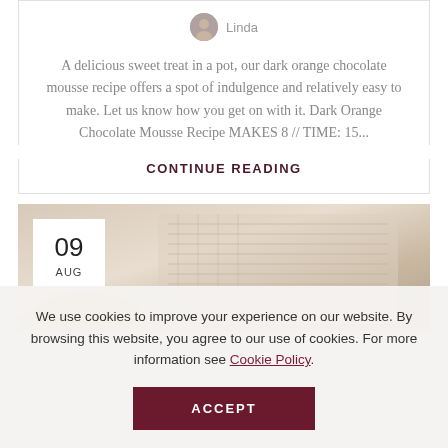Linda
A delicious sweet treat in a pot, our dark orange chocolate mousse recipe offers a spot of indulgence and relatively easy to make. Let us know how you get on with it. Dark Orange Chocolate Mousse Recipe MAKES 8 // TIME: 15...
CONTINUE READING
[Figure (photo): Food blog post header image showing a dessert dish, with a white date badge overlay showing '09 AUG']
We use cookies to improve your experience on our website. By browsing this website, you agree to our use of cookies. For more information see Cookie Policy.
ACCEPT